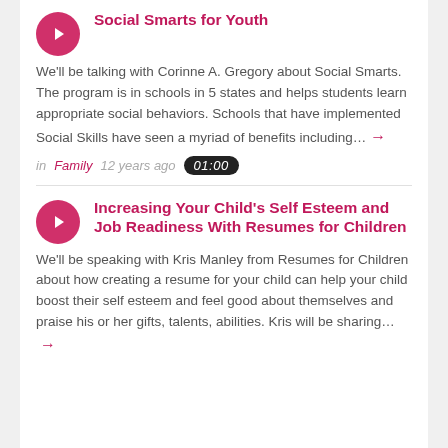Social Smarts for Youth
We'll be talking with Corinne A. Gregory about Social Smarts. The program is in schools in 5 states and helps students learn appropriate social behaviors. Schools that have implemented Social Skills have seen a myriad of benefits including…
in Family  12 years ago  01:00
Increasing Your Child's Self Esteem and Job Readiness With Resumes for Children
We'll be speaking with Kris Manley from Resumes for Children about how creating a resume for your child can help your child boost their self esteem and feel good about themselves and praise his or her gifts, talents, abilities. Kris will be sharing…